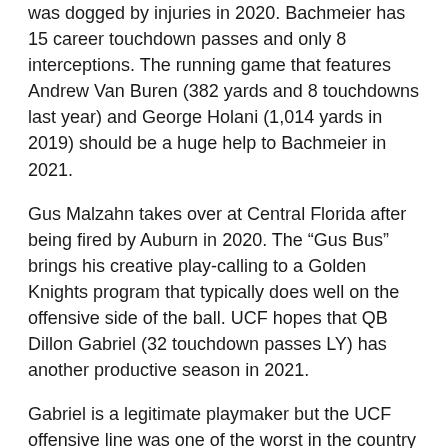was dogged by injuries in 2020. Bachmeier has 15 career touchdown passes and only 8 interceptions. The running game that features Andrew Van Buren (382 yards and 8 touchdowns last year) and George Holani (1,014 yards in 2019) should be a huge help to Bachmeier in 2021.
Gus Malzahn takes over at Central Florida after being fired by Auburn in 2020. The “Gus Bus” brings his creative play-calling to a Golden Knights program that typically does well on the offensive side of the ball. UCF hopes that QB Dillon Gabriel (32 touchdown passes LY) has another productive season in 2021.
Gabriel is a legitimate playmaker but the UCF offensive line was one of the worst in the country last season. The Boise State defensive line should be able to get some pressure on Gabriel and force him into some turnovers. We see a high-scoring game with the Broncos winning this one outright. Boise State 38 UCF 35.